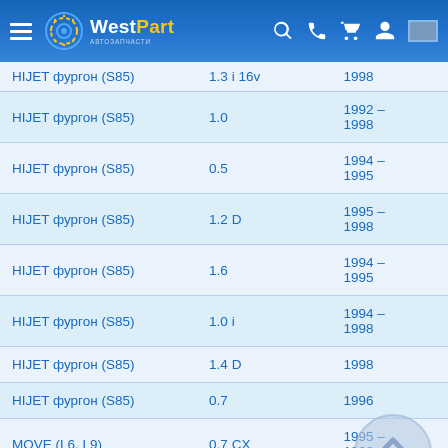WestPart — автозапчасти
| Модель | Объём | Годы |
| --- | --- | --- |
| HIJET фургон (S85) | 1.3 i 16v | 1998 |
| HIJET фургон (S85) | 1.0 | 1992 – 1998 |
| HIJET фургон (S85) | 0.5 | 1994 – 1995 |
| HIJET фургон (S85) | 1.2 D | 1995 – 1998 |
| HIJET фургон (S85) | 1.6 | 1994 – 1995 |
| HIJET фургон (S85) | 1.0 i | 1994 – 1998 |
| HIJET фургон (S85) | 1.4 D | 1998 |
| HIJET фургон (S85) | 0.7 | 1996 |
| MOVE (L6, L9) | 0.7 CX | 1995 – 1998 |
| MOVE (L6, L9) | 0.7 4x4 | 1997 – 2002 |
| MOVE (L6, L9) | 0.7 | 1998 – 2002 |